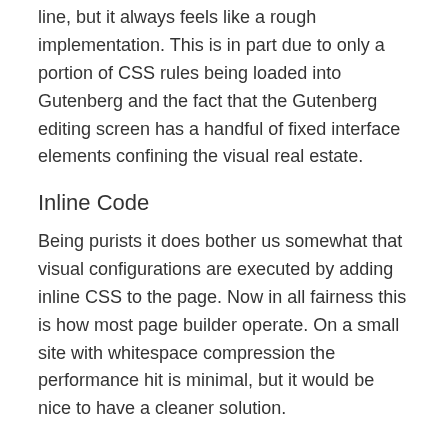line, but it always feels like a rough implementation. This is in part due to only a portion of CSS rules being loaded into Gutenberg and the fact that the Gutenberg editing screen has a handful of fixed interface elements confining the visual real estate.
Inline Code
Being purists it does bother us somewhat that visual configurations are executed by adding inline CSS to the page. Now in all fairness this is how most page builder operate. On a small site with whitespace compression the performance hit is minimal, but it would be nice to have a cleaner solution.